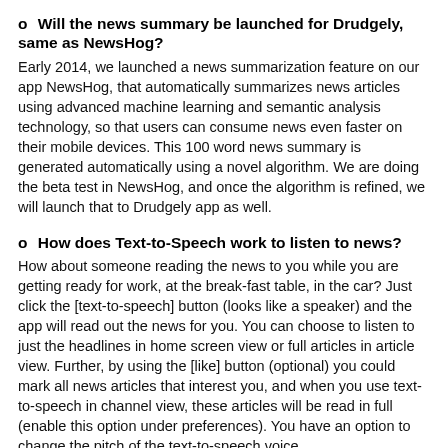o   Will the news summary be launched for Drudgely, same as NewsHog?
Early 2014, we launched a news summarization feature on our app NewsHog, that automatically summarizes news articles using advanced machine learning and semantic analysis technology, so that users can consume news even faster on their mobile devices. This 100 word news summary is generated automatically using a novel algorithm. We are doing the beta test in NewsHog, and once the algorithm is refined, we will launch that to Drudgely app as well.
o   How does Text-to-Speech work to listen to news?
How about someone reading the news to you while you are getting ready for work, at the break-fast table, in the car? Just click the [text-to-speech] button (looks like a speaker) and the app will read out the news for you. You can choose to listen to just the headlines in home screen view or full articles in article view. Further, by using the [like] button (optional) you could mark all news articles that interest you, and when you use text-to-speech in channel view, these articles will be read in full (enable this option under preferences). You have an option to change the pitch of the text-to-speech voice.